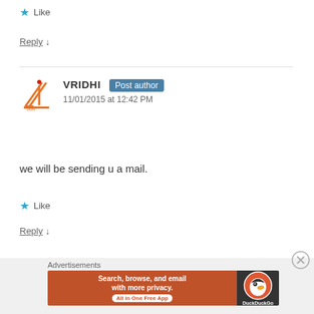★ Like
Reply ↓
[Figure (logo): Vridhi blog logo - orange stylized letter V with a red dot]
VRIDHI Post author
11/01/2015 at 12:42 PM
we will be sending u a mail.
★ Like
Reply ↓
Advertisements
[Figure (screenshot): DuckDuckGo advertisement banner - Search, browse, and email with more privacy. All in One Free App]